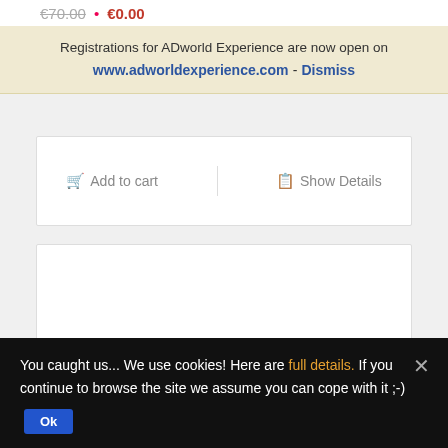€70.00 • €0.00
Registrations for ADworld Experience are now open on www.adworldexperience.com - Dismiss
Add to cart   Show Details
[Figure (other): Empty white content area box]
You caught us... We use cookies! Here are full details. If you continue to browse the site we assume you can cope with it ;-)
Ok